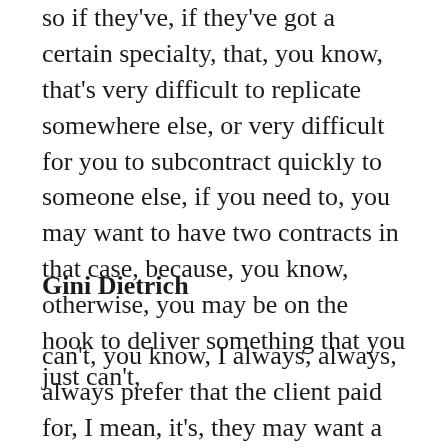so if they've, if they've got a certain specialty, that, you know, that's very difficult to replicate somewhere else, or very difficult for you to subcontract quickly to someone else, if you need to, you may want to have two contracts in that case, because, you know, otherwise, you may be on the hook to deliver something that you just can't,
Gini Dietrich
can't, you know, I always, always, always prefer that the client paid for, I mean, it's, they may want a single invoice and you may go get